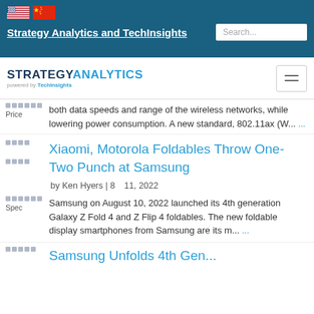Strategy Analytics and TechInsights
[Figure (logo): Strategy Analytics powered by TechInsights logo with hamburger menu]
both data speeds and range of the wireless networks, while lowering power consumption. A new standard, 802.11ax (W... ...
Price
Xiaomi, Motorola Foldables Throw One-Two Punch at Samsung
by Ken Hyers | 8 11, 2022
Samsung on August 10, 2022 launched its 4th generation Galaxy Z Fold 4 and Z Flip 4 foldables. The new foldable display smartphones from Samsung are its m... ...
Spec
Samsung Unfolds 4th Gen...